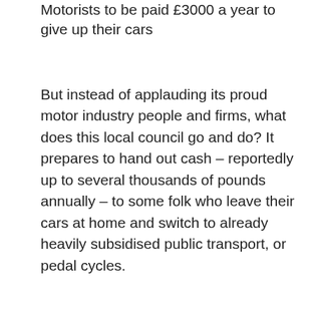Motorists to be paid £3000 a year to give up their cars
But instead of applauding its proud motor industry people and firms, what does this local council go and do? It prepares to hand out cash – reportedly up to several thousands of pounds annually – to some folk who leave their cars at home and switch to already heavily subsidised public transport, or pedal cycles.